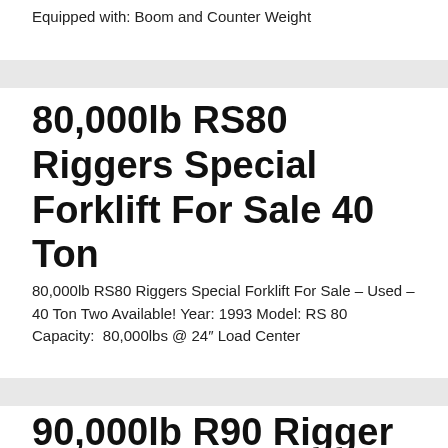Equipped with: Boom and Counter Weight
80,000lb RS80 Riggers Special Forklift For Sale 40 Ton
80,000lb RS80 Riggers Special Forklift For Sale – Used – 40 Ton Two Available! Year: 1993 Model: RS 80 Capacity:  80,000lbs @ 24″ Load Center
90,000lb R90 Rigger Lift